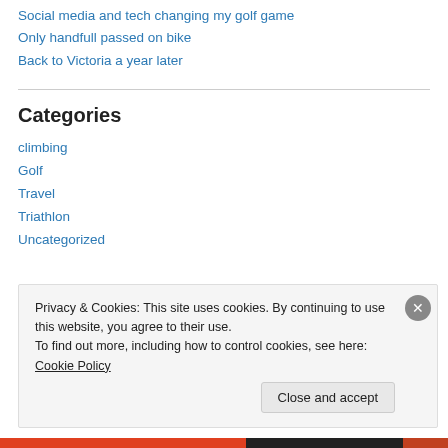Social media and tech changing my golf game
Only handfull passed on bike
Back to Victoria a year later
Categories
climbing
Golf
Travel
Triathlon
Uncategorized
Privacy & Cookies: This site uses cookies. By continuing to use this website, you agree to their use.
To find out more, including how to control cookies, see here: Cookie Policy
Close and accept